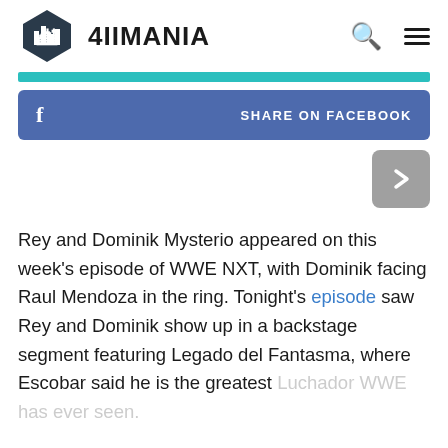4IIMANIA
[Figure (logo): 4IIMANIA website logo with hexagon icon and site name, plus search and menu icons]
[Figure (infographic): Teal horizontal bar divider]
[Figure (infographic): Facebook share button bar in blue with 'f' icon and 'SHARE ON FACEBOOK' text]
[Figure (infographic): Grey next/arrow button with right-pointing chevron]
Rey and Dominik Mysterio appeared on this week's episode of WWE NXT, with Dominik facing Raul Mendoza in the ring. Tonight's episode saw Rey and Dominik show up in a backstage segment featuring Legado del Fantasma, where Escobar said he is the greatest Luchador WWE has ever seen.